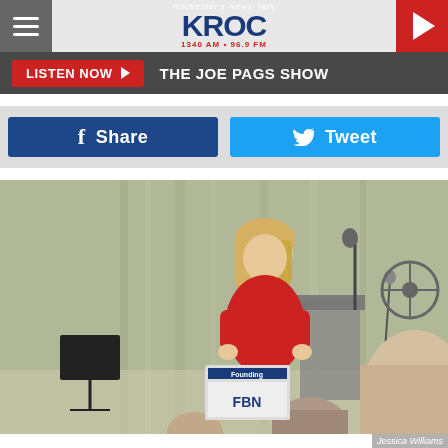Rochester's News-Talk KROC 1340 AM · 96.9 FM
LISTEN NOW ▶  THE JOE PAGS SHOW
f Share
Tweet
[Figure (photo): Woman in red top speaking at a podium/lectern at an indoor event, audience members visible in the foreground]
Jessica Williams